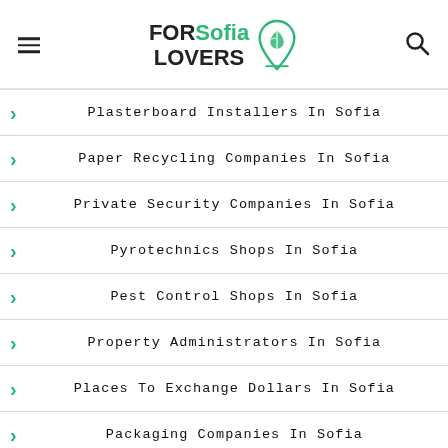FOR Sofia LOVERS
Plasterboard Installers In Sofia
Paper Recycling Companies In Sofia
Private Security Companies In Sofia
Pyrotechnics Shops In Sofia
Pest Control Shops In Sofia
Property Administrators In Sofia
Places To Exchange Dollars In Sofia
Packaging Companies In Sofia